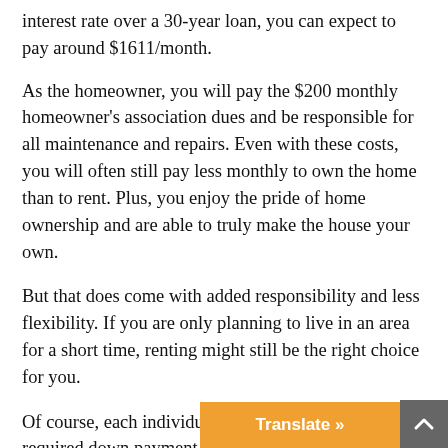interest rate over a 30-year loan, you can expect to pay around $1611/month.
As the homeowner, you will pay the $200 monthly homeowner's association dues and be responsible for all maintenance and repairs. Even with these costs, you will often still pay less monthly to own the home than to rent. Plus, you enjoy the pride of home ownership and are able to truly make the house your own.
But that does come with added responsibility and less flexibility. If you are only planning to live in an area for a short time, renting might still be the right choice for you.
Of course, each individual situation can impact the required down payment amount, interest rate, and terms of the loan. You can also negotiate to get the price down in some cases. Talking to a real es